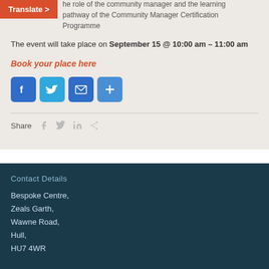the role of the community manager and the learning pathway of the Community Manager Certification Programme
The event will take place on September 15 @ 10:00 am – 11:00 am
Book your place here
[Figure (infographic): Social share buttons: Facebook, Twitter, Email, Plus]
Share
Contact Details
Bespoke Centre,
Zeals Garth,
Wawne Road,
Hull,
HU7 4WR